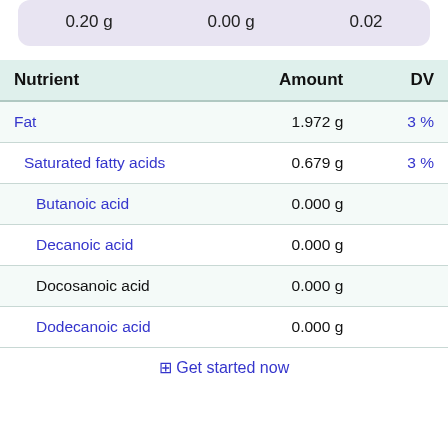| 0.20 g | 0.00 g | 0.02 |
| Nutrient | Amount | DV |
| --- | --- | --- |
| Fat | 1.972 g | 3 % |
| Saturated fatty acids | 0.679 g | 3 % |
| Butanoic acid | 0.000 g |  |
| Decanoic acid | 0.000 g |  |
| Docosanoic acid | 0.000 g |  |
| Dodecanoic acid | 0.000 g |  |
⊡ Get started now